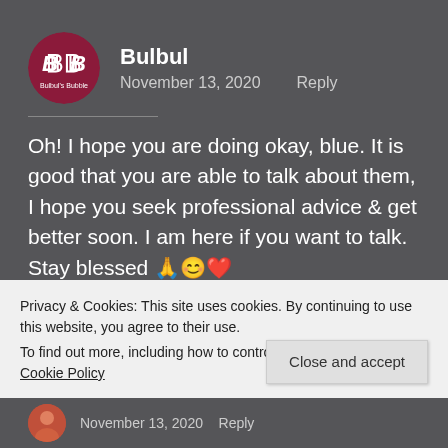[Figure (logo): Bulbul's Bubble circular logo — dark red/maroon circle with white 'BB' letters and small text 'Bulbul's Bubble' at the bottom]
Bulbul
November 13, 2020   Reply
Oh! I hope you are doing okay, blue. It is good that you are able to talk about them, I hope you seek professional advice & get better soon. I am here if you want to talk.
Stay blessed 🙏😊❤️
Privacy & Cookies: This site uses cookies. By continuing to use this website, you agree to their use.
To find out more, including how to control cookies, see here: Cookie Policy
Close and accept